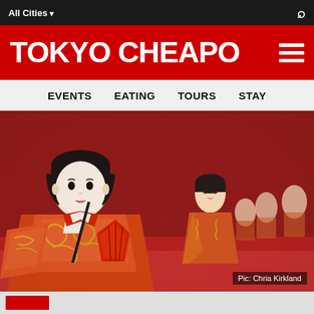All Cities ▾
TOKYO CHEAPO
EVENTS  EATING  TOURS  STAY
[Figure (photo): Japanese Hina dolls dressed in traditional red and gold kimono robes arranged on a red cloth background. A prominent doll in the foreground holds a black object. More dolls are visible in soft focus in the background.]
Pic: Chria Kirkland